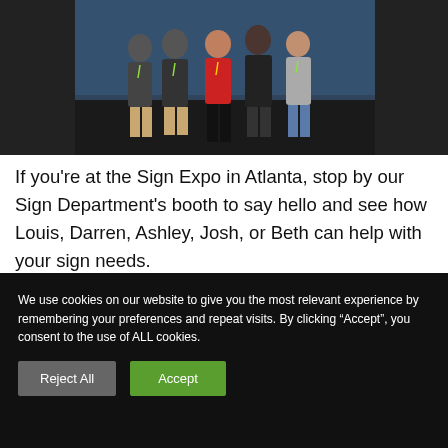[Figure (photo): Group photo of five people (Louis, Darren, Ashley, Josh, Beth) standing at a trade show booth with dark backdrop and blue background display.]
If you’re at the Sign Expo in Atlanta, stop by our Sign Department’s booth to say hello and see how Louis, Darren, Ashley, Josh, or Beth can help with your sign needs.
We use cookies on our website to give you the most relevant experience by remembering your preferences and repeat visits. By clicking “Accept”, you consent to the use of ALL cookies.